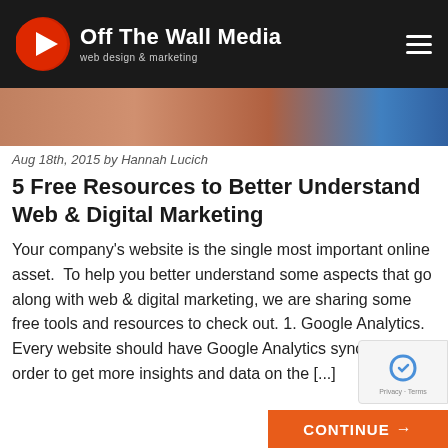Off The Wall Media – web design & marketing
[Figure (photo): Partial photo strip showing colorful image at top of article]
Aug 18th, 2015 by Hannah Lucich
5 Free Resources to Better Understand Web & Digital Marketing
Your company's website is the single most important online asset.  To help you better understand some aspects that go along with web & digital marketing, we are sharing some free tools and resources to check out. 1. Google Analytics. Every website should have Google Analytics synched up in order to get more insights and data on the [...]